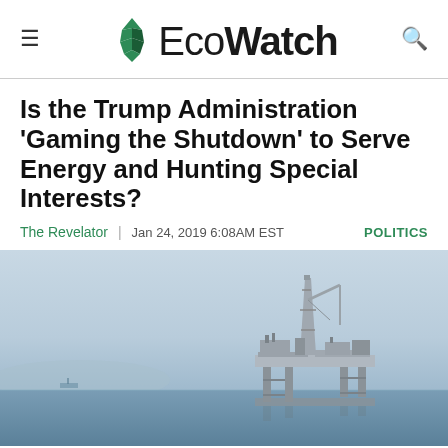EcoWatch
Is the Trump Administration ‘Gaming the Shutdown’ to Serve Energy and Hunting Special Interests?
The Revelator | Jan 24, 2019 6:08AM EST  POLITICS
[Figure (photo): Offshore oil drilling platform against a hazy sky and ocean horizon]